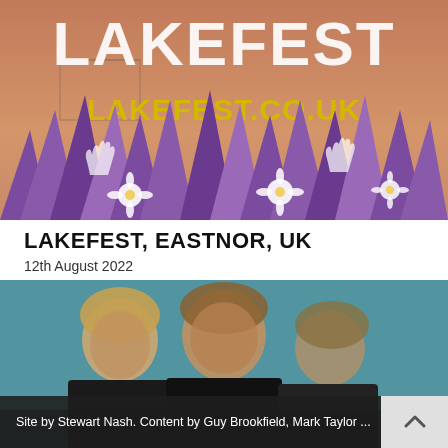[Figure (illustration): Lakefest festival promotional poster with illustrated purple flowers/plants in the foreground, warm sunset sky in background, large white distressed text 'LAKEFEST' at top, and yellow text 'LAKEFEST.CO.UK' in the middle.]
LAKEFEST, EASTNOR, UK
12th August 2022
[Figure (photo): Black and white photo of three young people/band members against a teal/blue-green background, viewed from slightly below.]
Site by Stewart Nash. Content by Guy Brookfield, Mark Taylor ...